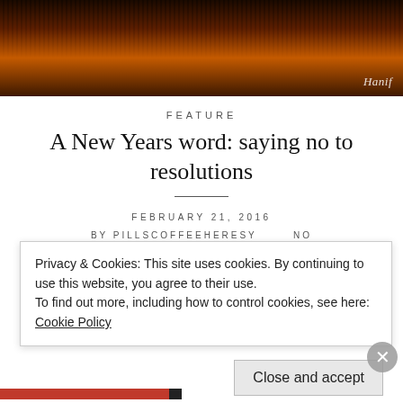[Figure (photo): Hero image of a sunset with silhouetted tree branches against an orange and dark sky, with a cursive 'Hanif' credit watermark in the lower right.]
FEATURE
A New Years word: saying no to resolutions
FEBRUARY 21, 2016
BY PILLSCOFFEEHERESY   NO
Privacy & Cookies: This site uses cookies. By continuing to use this website, you agree to their use.
To find out more, including how to control cookies, see here: Cookie Policy
Close and accept